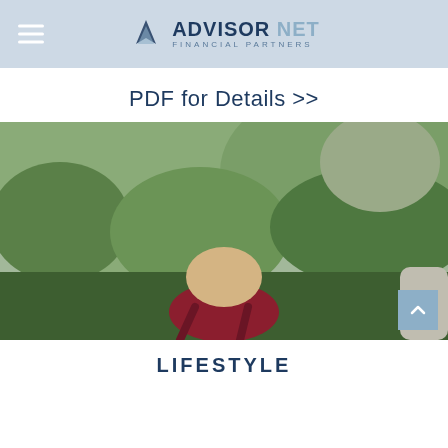ADVISOR NET FINANCIAL PARTNERS
PDF for Details >>
[Figure (photo): Person with blonde hair wearing a red jacket and backpack seen from behind, looking at a lush green forested mountain landscape.]
LIFESTYLE